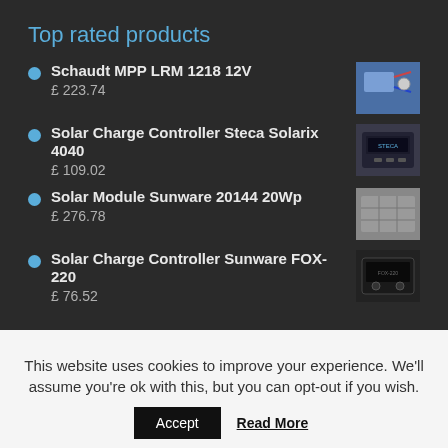Top rated products
Schaudt MPP LRM 1218 12V
£ 223.74
Solar Charge Controller Steca Solarix 4040
£ 109.02
Solar Module Sunware 20144 20Wp
£ 276.78
Solar Charge Controller Sunware FOX-220
£ 76.52
This website uses cookies to improve your experience. We'll assume you're ok with this, but you can opt-out if you wish.
Accept   Read More